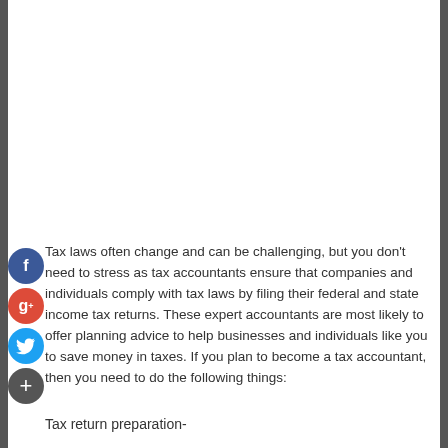Tax laws often change and can be challenging, but you don't need to stress as tax accountants ensure that companies and individuals comply with tax laws by filing their federal and state income tax returns. These expert accountants are most likely to offer planning advice to help businesses and individuals like you to save money in taxes. If you plan to become a tax accountant, then you need to do the following things:
Tax return preparation-